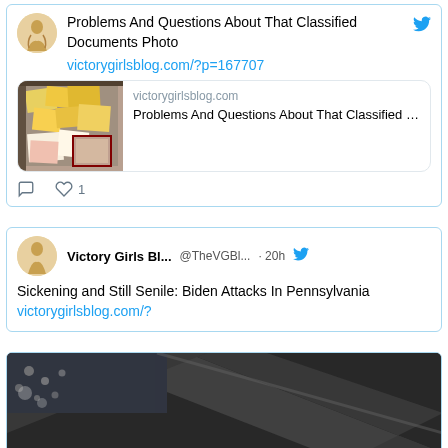[Figure (screenshot): Tweet from Victory Girls Blog showing article link about classified documents photo, with link preview image of documents laid out on a surface, and heart/comment action icons showing 1 like]
[Figure (screenshot): Tweet from Victory Girls Bl... @TheVGBl... · 20h with text: Sickening and Still Senile: Biden Attacks In Pennsylvania victorygirlsblog.com/?]
[Figure (photo): Partial black and white photo of an American flag at the bottom of the page]